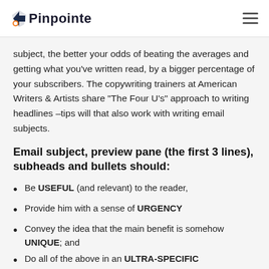Pinpointe
subject, the better your odds of beating the averages and getting what you've written read, by a bigger percentage of your subscribers. The copywriting trainers at American Writers & Artists share "The Four U's" approach to writing headlines –tips will that also work with writing email subjects.
Email subject, preview pane (the first 3 lines), subheads and bullets should:
Be USEFUL (and relevant) to the reader,
Provide him with a sense of URGENCY
Convey the idea that the main benefit is somehow UNIQUE; and
Do all of the above in an ULTRA-SPECIFIC